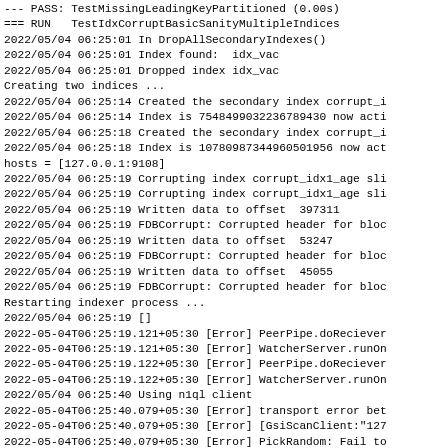--- PASS: TestMissingLeadingKeyPartitioned (0.00s)
=== RUN   TestIdxCorruptBasicSanityMultipleIndices
2022/05/04 06:25:01 In DropAllSecondaryIndexes()
2022/05/04 06:25:01 Index found:  idx_vac
2022/05/04 06:25:01 Dropped index idx_vac
Creating two indices ...
2022/05/04 06:25:14 Created the secondary index corrupt_i
2022/05/04 06:25:14 Index is 7548499032236789430 now acti
2022/05/04 06:25:18 Created the secondary index corrupt_i
2022/05/04 06:25:18 Index is 10780987344960501956 now act
hosts = [127.0.0.1:9108]
2022/05/04 06:25:19 Corrupting index corrupt_idx1_age sli
2022/05/04 06:25:19 Corrupting index corrupt_idx1_age sli
2022/05/04 06:25:19 Written data to offset  397311
2022/05/04 06:25:19 FDBCorrupt: Corrupted header for bloc
2022/05/04 06:25:19 Written data to offset  53247
2022/05/04 06:25:19 FDBCorrupt: Corrupted header for bloc
2022/05/04 06:25:19 Written data to offset  45055
2022/05/04 06:25:19 FDBCorrupt: Corrupted header for bloc
Restarting indexer process ...
2022/05/04 06:25:19 []
2022-05-04T06:25:19.121+05:30 [Error] PeerPipe.doReciever
2022-05-04T06:25:19.121+05:30 [Error] WatcherServer.runOn
2022-05-04T06:25:19.122+05:30 [Error] PeerPipe.doReciever
2022-05-04T06:25:19.122+05:30 [Error] WatcherServer.runOn
2022/05/04 06:25:40 Using n1ql client
2022-05-04T06:25:40.079+05:30 [Error] transport error bet
2022-05-04T06:25:40.079+05:30 [Error] [GsiScanClient:"127
2022-05-04T06:25:40.079+05:30 [Error] PickRandom: Fail to
2022/05/04 06:25:40 Using n1ql client
--- PASS: TestIdxCorruptBasicSanityMultipleIndices (20.00s